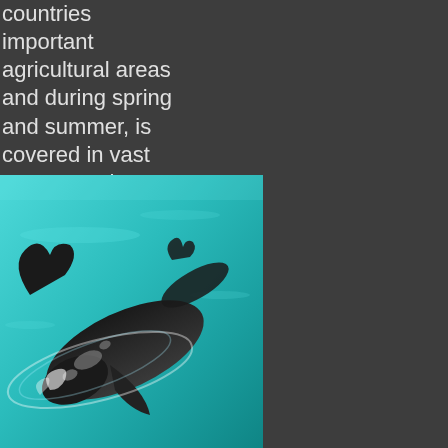countries important agricultural areas and during spring and summer, is covered in vast green swathes...
[Figure (photo): Aerial photograph of whales (likely Southern Right Whales) swimming in turquoise ocean water, showing one large whale and a smaller one.]
De Hoop Nature Reserve & Marine Protected Area
The De Hoop Nature Reserve and Marine Protected Area is without a doubt, one of the flagship...